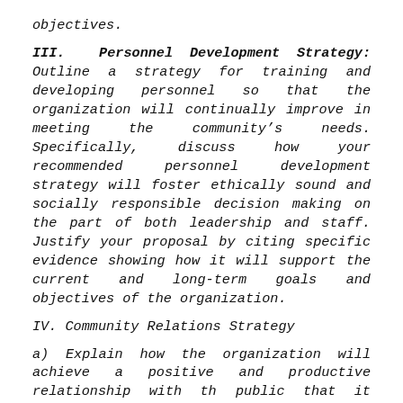objectives.
III. Personnel Development Strategy: Outline a strategy for training and developing personnel so that the organization will continually improve in meeting the community’s needs. Specifically, discuss how your recommended personnel development strategy will foster ethically sound and socially responsible decision making on the part of both leadership and staff. Justify your proposal by citing specific evidence showing how it will support the current and long-term goals and objectives of the organization.
IV. Community Relations Strategy
a) Explain how the organization will achieve a positive and productive relationship with the public that it serves. For example, how can the